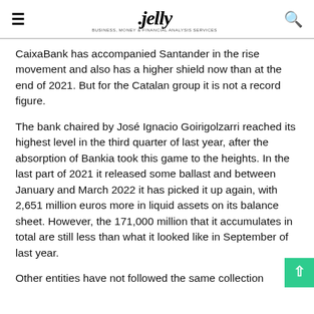jelly
CaixaBank has accompanied Santander in the rise movement and also has a higher shield now than at the end of 2021. But for the Catalan group it is not a record figure.
The bank chaired by José Ignacio Goirigolzarri reached its highest level in the third quarter of last year, after the absorption of Bankia took this game to the heights. In the last part of 2021 it released some ballast and between January and March 2022 it has picked it up again, with 2,651 million euros more in liquid assets on its balance sheet. However, the 171,000 million that it accumulates in total are still less than what it looked like in September of last year.
Other entities have not followed the same collection